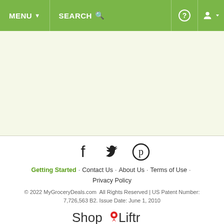MENU ▼   SEARCH 🔍   ?   👤▼
[Figure (screenshot): Light yellow-green content/main area, empty]
[Figure (infographic): Social media icons: Facebook, Twitter, Pinterest]
Getting Started · Contact Us · About Us · Terms of Use · Privacy Policy
© 2022 MyGroceryDeals.com  All Rights Reserved | US Patent Number: 7,726,563 B2. Issue Date: June 1, 2010
[Figure (logo): ShopLiftr logo with red location pin]
[Figure (other): Back to top button with upward arrow]